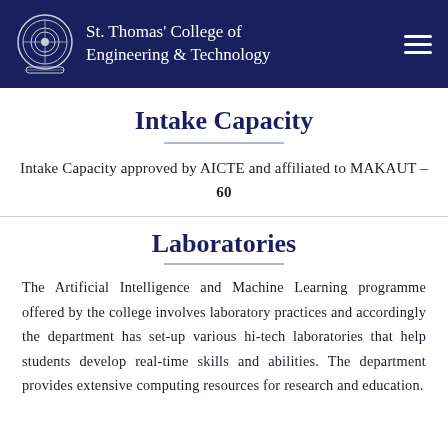St. Thomas' College of Engineering & Technology
Intake Capacity
Intake Capacity approved by AICTE and affiliated to MAKAUT – 60
Laboratories
The Artificial Intelligence and Machine Learning programme offered by the college involves laboratory practices and accordingly the department has set-up various hi-tech laboratories that help students develop real-time skills and abilities. The department provides extensive computing resources for research and education.